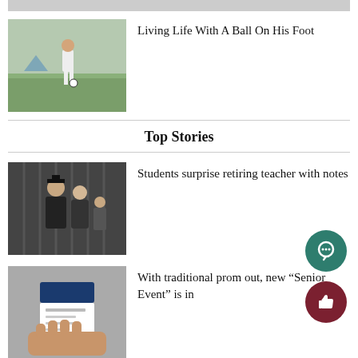[Figure (photo): Soccer player dribbling a ball on a field]
Living Life With A Ball On His Foot
Top Stories
[Figure (photo): Students hugging a teacher in graduation gown on stage]
Students surprise retiring teacher with notes
[Figure (photo): Hand holding a ticket or card with a blue image on it]
With traditional prom out, new “Senior Event” is in
[Figure (photo): Students wearing masks, drama class scene]
Drama hosts second virtual play...